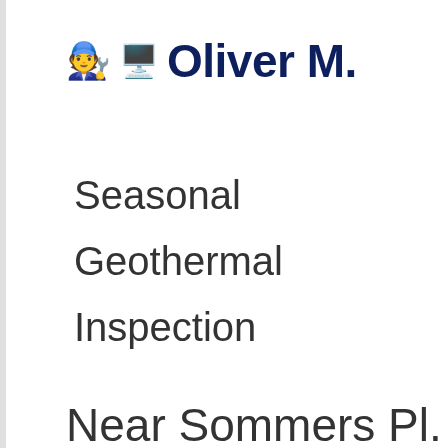🧑‍🔧🖥️ Oliver M.
Seasonal

Geothermal

Inspection
Near Sommers Pl.